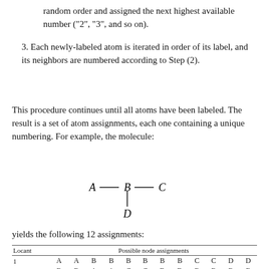random order and assigned the next highest available number ("2", "3", and so on).
3. Each newly-labeled atom is iterated in order of its label, and its neighbors are numbered according to Step (2).
This procedure continues until all atoms have been labeled. The result is a set of atom assignments, each one containing a unique numbering. For example, the molecule:
[Figure (schematic): Simple molecular graph showing atoms A, B, C, D where A-B-C are connected in a chain and D hangs below B.]
yields the following 12 assignments:
| Locant | Possible node assignments |  |  |  |  |  |  |  |  |  |  |  |
| --- | --- | --- | --- | --- | --- | --- | --- | --- | --- | --- | --- | --- |
| 1 | A | A | B | B | B | B | B | B | C | C | D | D |
| 2 | B | B | A | A | C | C | D | D | B | B | B | B |